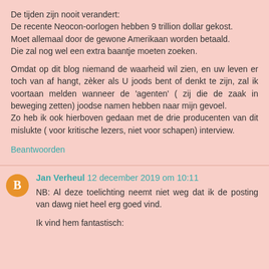De tijden zijn nooit verandert:
De recente Neocon-oorlogen hebben 9 trillion dollar gekost.
Moet allemaal door de gewone Amerikaan worden betaald.
Die zal nog wel een extra baantje moeten zoeken.

Omdat op dit blog niemand de waarheid wil zien, en uw leven er toch van af hangt, zèker als U joods bent of denkt te zijn, zal ik voortaan melden wanneer de 'agenten' ( zij die de zaak in beweging zetten) joodse namen hebben naar mijn gevoel.
Zo heb ik ook hierboven gedaan met de drie producenten van dit mislukte ( voor kritische lezers, niet voor schapen) interview.
Beantwoorden
Jan Verheul 12 december 2019 om 10:11
NB: Al deze toelichting neemt niet weg dat ik de posting van dawg niet heel erg goed vind.

Ik vind hem fantastisch: